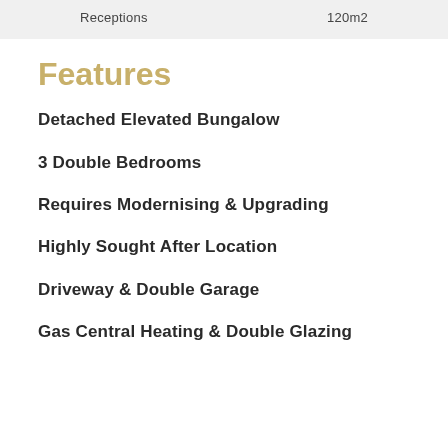| Receptions | 120m2 |
| --- | --- |
Features
Detached Elevated Bungalow
3 Double Bedrooms
Requires Modernising & Upgrading
Highly Sought After Location
Driveway & Double Garage
Gas Central Heating & Double Glazing